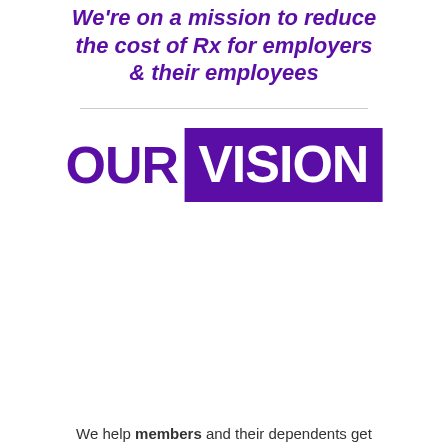We're on a mission to reduce the cost of Rx for employers & their employees
[Figure (infographic): OUR VISION text graphic: 'OUR' in bold purple, 'VISION' in white bold text on a solid purple rectangle background]
We help members and their dependents get